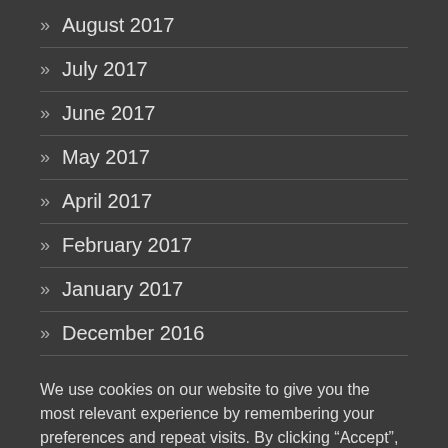» August 2017
» July 2017
» June 2017
» May 2017
» April 2017
» February 2017
» January 2017
» December 2016
We use cookies on our website to give you the most relevant experience by remembering your preferences and repeat visits. By clicking “Accept”, you consent to the use of ALL the cookies.
Cookie settings | ACCEPT